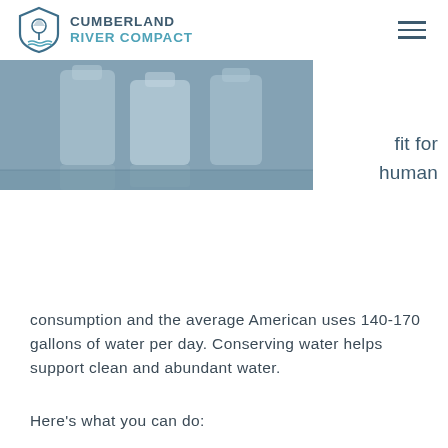CUMBERLAND RIVER COMPACT
[Figure (photo): Close-up photo of glass water bottles/glasses on a reflective surface, in blue-grey tones]
fit for human
consumption and the average American uses 140-170 gallons of water per day. Conserving water helps support clean and abundant water.
Here's what you can do: